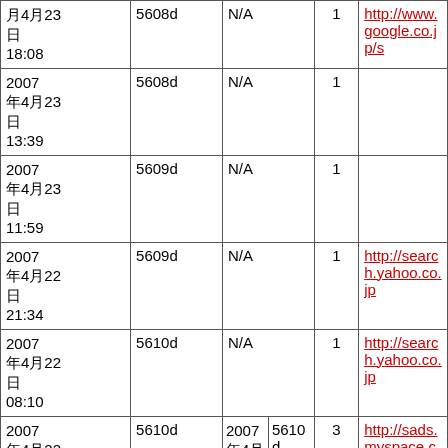| Date | ID | Date2 | ID2 | Num | URL |
| --- | --- | --- | --- | --- | --- |
| 2007年4月23日 18:08 | 5608d | N/A |  | 1 | http://www.google.co.jp/s... |
| 2007年4月23日 13:39 | 5608d | N/A |  | 1 |  |
| 2007年4月23日 11:59 | 5609d | N/A |  | 1 |  |
| 2007年4月22日 21:34 | 5609d | N/A |  | 1 | http://search.yahoo.co.jp... |
| 2007年4月22日 08:10 | 5610d | N/A |  | 1 | http://search.yahoo.co.jp... |
| 2007年4月22日 07:18 | 5610d | 2007年4月22日 07:17 | 5610d | 3 | http://sads.myspace.com/... |
| 2007... |  |  |  |  |  |